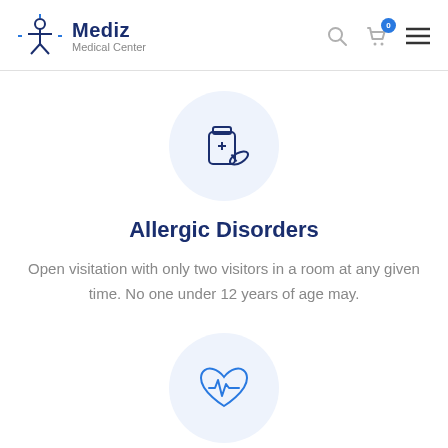Mediz Medical Center
[Figure (illustration): Medicine bottle with pills icon inside a light blue circle]
Allergic Disorders
Open visitation with only two visitors in a room at any given time. No one under 12 years of age may.
[Figure (illustration): Heart with heartbeat/ECG line icon inside a light blue circle]